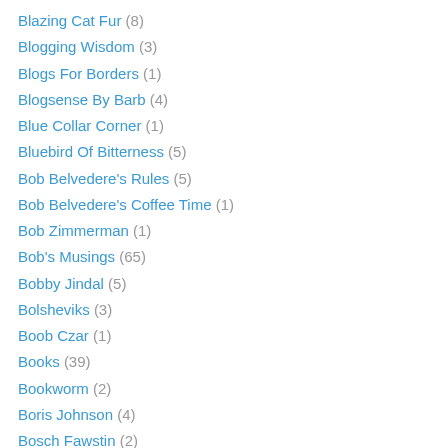Blazing Cat Fur (8)
Blogging Wisdom (3)
Blogs For Borders (1)
Blogsense By Barb (4)
Blue Collar Corner (1)
Bluebird Of Bitterness (5)
Bob Belvedere's Rules (5)
Bob Belvedere's Coffee Time (1)
Bob Zimmerman (1)
Bob's Musings (65)
Bobby Jindal (5)
Bolsheviks (3)
Boob Czar (1)
Books (39)
Bookworm (2)
Boris Johnson (4)
Bosch Fawstin (2)
Boston Herald (6)
Bourbon (10)
Brandon Darby (6)